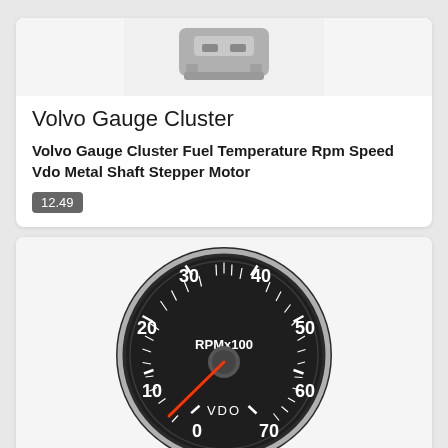[Figure (photo): Volvo gauge cluster hardware component shown from above, grey plastic part visible at top]
Volvo Gauge Cluster
Volvo Gauge Cluster Fuel Temperature Rpm Speed Vdo Metal Shaft Stepper Motor
12.49
[Figure (photo): VDO tachometer gauge with black face, white markings from 0 to 70 (RPMx100), red needle pointing near 0, silver ring bezel]